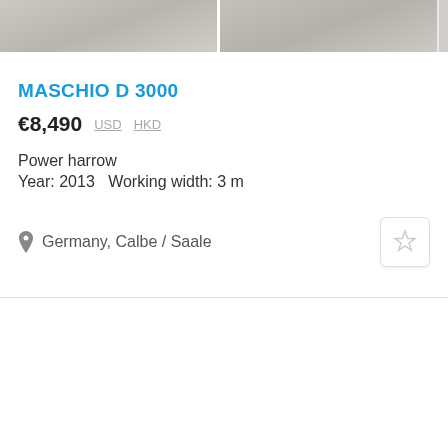[Figure (photo): Two product images of farm equipment (power harrow) side by side at top of listing]
MASCHIO D 3000
€8,490  USD  HKD
Power harrow
Year: 2013   Working width: 3 m
Germany, Calbe / Saale